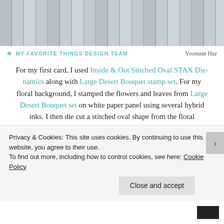[Figure (photo): Wooden background / planks texture image at top of page]
❄ MY FAVORITE THINGS DESIGN TEAM    Yoonsun Hur
For my first card, I used Inside & Out Stitched Oval STAX Die-namics along with Large Desert Bouquet stamp set. For my floral background, I stamped the flowers and leaves from Large Desert Bouquet set on white paper panel using several hybrid inks. I then die cut a stitched oval shape from the floral background using Inside & Out Stitched Oval STAX Die-namics. For the sentiment panel, I die cut 2
Privacy & Cookies: This site uses cookies. By continuing to use this website, you agree to their use.
To find out more, including how to control cookies, see here: Cookie Policy
Close and accept